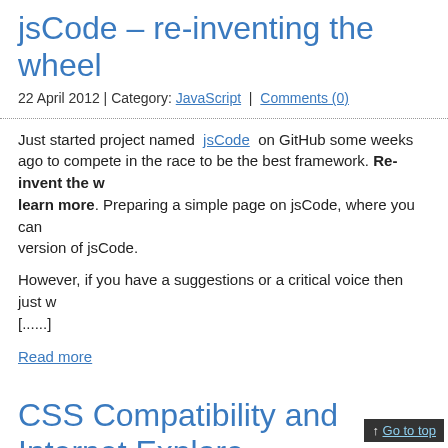jsCode – re-inventing the wheel
22 April 2012 | Category: JavaScript | Comments (0)
Just started project named jsCode on GitHub some weeks ago to compete in the race to be the best framework. Re-invent the wheel, learn more. Preparing a simple page on jsCode, where you can find the version of jsCode.
However, if you have a suggestions or a critical voice then just w [......]
Read more
CSS Compatibility and Internet Explore
22 April 2012 | Category: Browsers | Comments (0)
Finally, there is a one, big table of CSS Compatibility and Interne available on Microsoft site.
Go to top